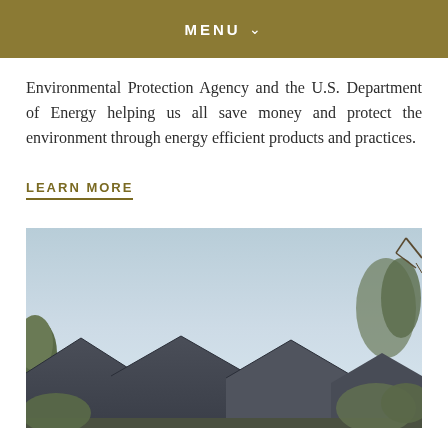MENU
Environmental Protection Agency and the U.S. Department of Energy helping us all save money and protect the environment through energy efficient products and practices.
LEARN MORE
[Figure (photo): Exterior photo of residential homes with dark angled rooftops and trees against a light blue sky]